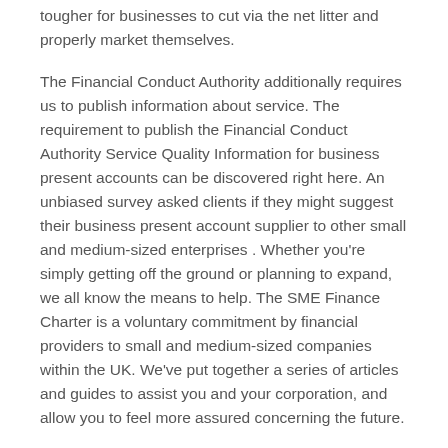tougher for businesses to cut via the net litter and properly market themselves.
The Financial Conduct Authority additionally requires us to publish information about service. The requirement to publish the Financial Conduct Authority Service Quality Information for business present accounts can be discovered right here. An unbiased survey asked clients if they might suggest their business present account supplier to other small and medium-sized enterprises . Whether you're simply getting off the ground or planning to expand, we all know the means to help. The SME Finance Charter is a voluntary commitment by financial providers to small and medium-sized companies within the UK. We've put together a series of articles and guides to assist you and your corporation, and allow you to feel more assured concerning the future.
Tags: business small